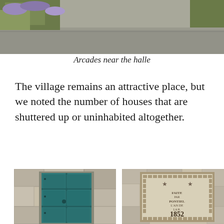[Figure (photo): Photo of arcades near the halle, showing stone archways, vegetation and a road]
Arcades near the halle
The village remains an attractive place, but we noted the number of houses that are shuttered up or uninhabited altogether.
[Figure (photo): Photo of an old teal/green wooden door set in a stone wall]
[Figure (photo): Photo of a stone plaque dated 1852 embedded in a stone wall, with decorative borders and text including PONTIEL and AN DE LA R]